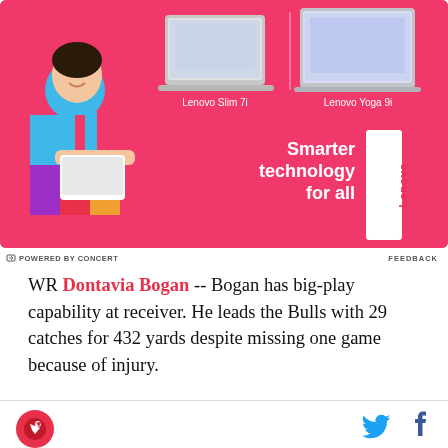[Figure (photo): Lenovo advertisement on pink/hot-pink background featuring a person carrying a laptop, with images of Lenovo Slim 7i and Lenovo Yoga 9i laptops, text reading 'Smarter technology for all' and the Lenovo logo badge.]
POWERED BY CONCERT   FEEDBACK
WR Dontavia Bogan -- Bogan has big-play capability at receiver. He leads the Bulls with 29 catches for 432 yards despite missing one game because of injury.
[Figure (logo): Site logo icon - circular red badge with bird/hawk design]
[Figure (other): Social share icons: Twitter bird icon and Facebook f icon]